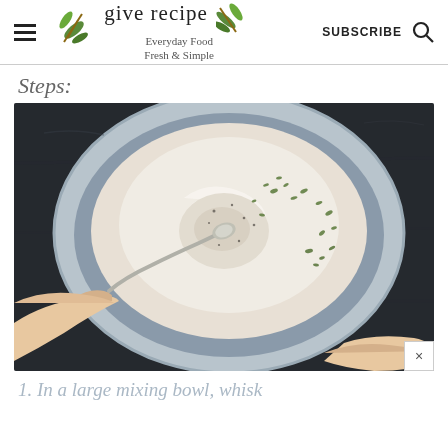give recipe | Everyday Food Fresh & Simple | SUBSCRIBE
Steps:
[Figure (photo): Overhead view of a ceramic bowl with cream/yogurt being stirred with a spoon, garnished with green herbs, hands visible holding the bowl, dark background]
1. In a large mixing bowl, whisk